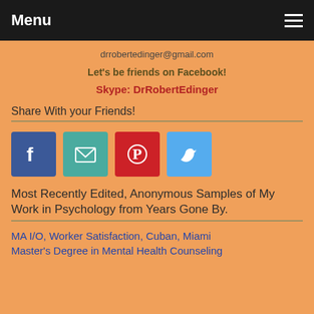Menu
drrobertedinger@gmail.com
Let's be friends on Facebook!
Skype: DrRobertEdinger
Share With your Friends!
[Figure (other): Social media share icons: Facebook (blue), Email (teal), Pinterest (red), Twitter (light blue)]
Most Recently Edited, Anonymous Samples of My Work in Psychology from Years Gone By.
MA I/O, Worker Satisfaction, Cuban, Miami
Master's Degree in Mental Health Counseling